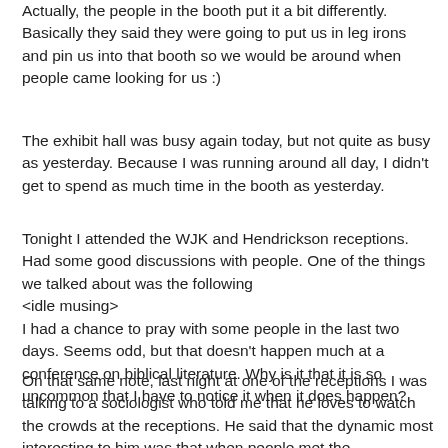Actually, the people in the booth put it a bit differently. Basically they said they were going to put us in leg irons and pin us into that booth so we would be around when people came looking for us :)
The exhibit hall was busy again today, but not quite as busy as yesterday. Because I was running around all day, I didn't get to spend as much time in the booth as yesterday.
Tonight I attended the WJK and Hendrickson receptions. Had some good discussions with people. One of the things we talked about was the following
<idle musing>
I had a chance to pray with some people in the last two days. Seems odd, but that doesn't happen much at a conference on biblical literature. Why is it that it is so uncommon that I have to notice it when it does happen?
On that same note, last night at one of the receptions I was talking to a sociologist who told me that he loves to watch the crowds at the receptions. He said that the dynamic most interesting to him was that when people met the